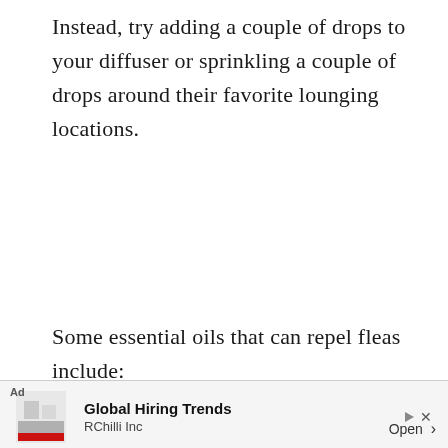Instead, try adding a couple of drops to your diffuser or sprinkling a couple of drops around their favorite lounging locations.
Some essential oils that can repel fleas include:
Lemon
Lemongrass
Cedar
Pennyroyal
Rosemary